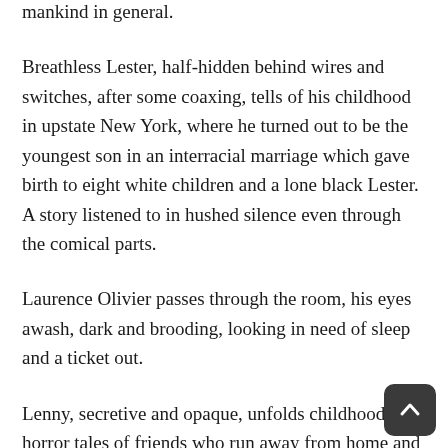empire and the coming wipe out of the hippies of Haight Street, and about the final radiation of mankind in general.
Breathless Lester, half-hidden behind wires and switches, after some coaxing, tells of his childhood in upstate New York, where he turned out to be the youngest son in an interracial marriage which gave birth to eight white children and a lone black Lester. A story listened to in hushed silence even through the comical parts.
Laurence Olivier passes through the room, his eyes awash, dark and brooding, looking in need of sleep and a ticket out.
Lenny, secretive and opaque, unfolds childhood horror tales of friends who run away from home and come back with an arm chopped off by a railroad car or been kidnapped and told to ran away and leave